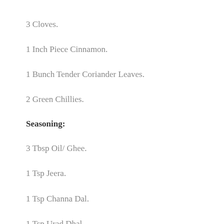3 Cloves.
1 Inch Piece Cinnamon.
1 Bunch Tender Coriander Leaves.
2 Green Chillies.
Seasoning:
3 Tbsp Oil/ Ghee.
1 Tsp Jeera.
1 Tsp Channa Dal.
1 Tsp Urad Dhal.